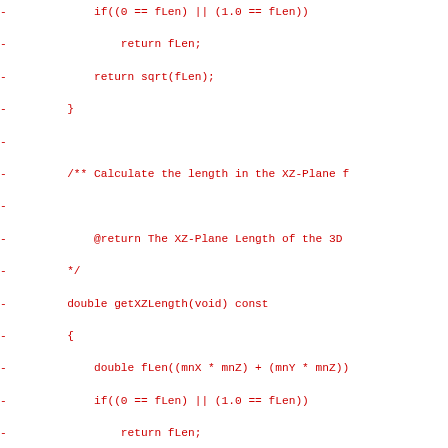Code diff showing C++ vector length methods including getXZLength and getYZLength implementations with if/return sqrt logic, shown as deleted lines (red dashes).